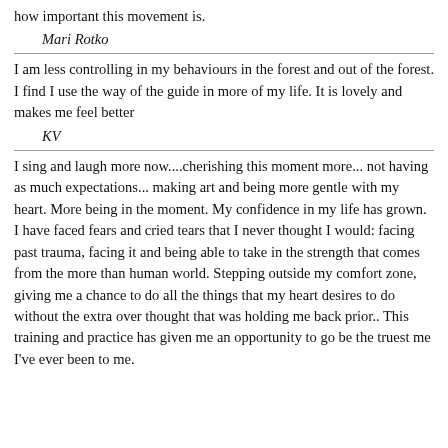how important this movement is.
Mari Rotko
I am less controlling in my behaviours in the forest and out of the forest. I find I use the way of the guide in more of my life. It is lovely and makes me feel better
KV
I sing and laugh more now....cherishing this moment more... not having as much expectations... making art and being more gentle with my heart. More being in the moment. My confidence in my life has grown. I have faced fears and cried tears that I never thought I would: facing past trauma, facing it and being able to take in the strength that comes from the more than human world. Stepping outside my comfort zone, giving me a chance to do all the things that my heart desires to do without the extra over thought that was holding me back prior.. This training and practice has given me an opportunity to go be the truest me I've ever been to me.